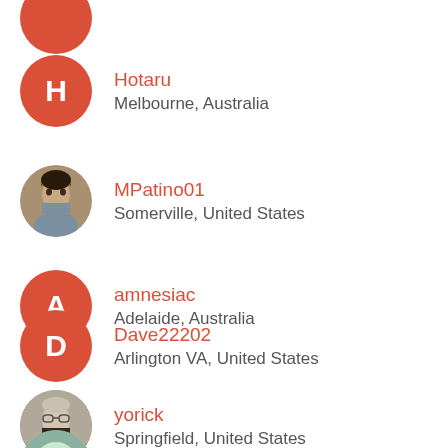(partial avatar, cropped at top)
Hotaru
Melbourne, Australia
MPatino01
Somerville, United States
amnesiac
Adelaide, Australia
Dave22202
Arlington VA, United States
yorick
Springfield, United States
(partial avatar at bottom)